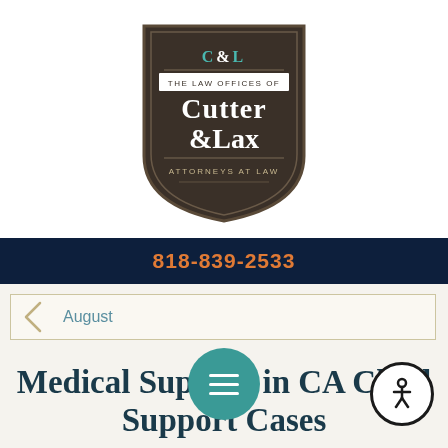[Figure (logo): Shield-shaped logo for The Law Offices of Cutter & Lax, Attorneys at Law. Dark brown/charcoal shield with 'C&L' at top, 'The Law Offices of' in a banner, 'Cutter & Lax' in large text, and 'Attorneys at Law' at bottom.]
818-839-2533
August
Medical Support in CA Child Support Cases
August 2018